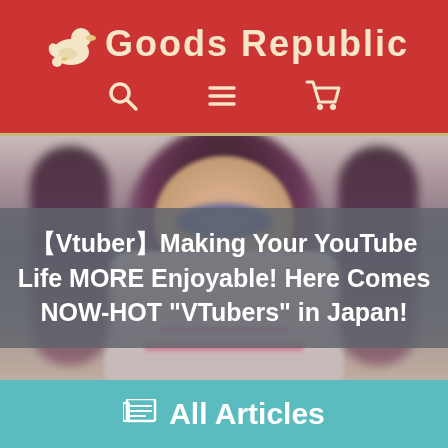Goods Republic
[Figure (screenshot): Blurred anime/virtual YouTuber character with dark hair, large eyes, wearing a light outfit with pink accents. Background is a blurred website page.]
【Vtuber】Making Your YouTube Life MORE Enjoyable! Here Comes NOW-HOT "VTubers" in Japan!
🗞 All Articles